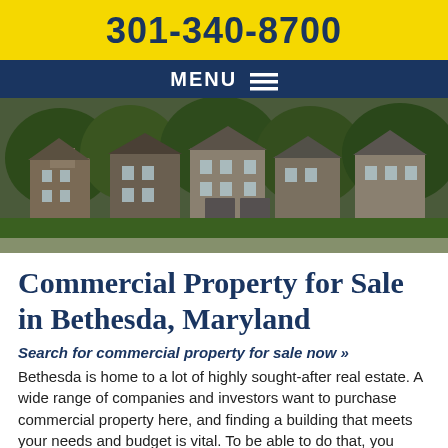301-340-8700
MENU
[Figure (photo): Suburban residential/commercial buildings with trees and greenery, wide panoramic banner image]
Commercial Property for Sale in Bethesda, Maryland
Search for commercial property for sale now »
Bethesda is home to a lot of highly sought-after real estate. A wide range of companies and investors want to purchase commercial property here, and finding a building that meets your needs and budget is vital. To be able to do that, you need an experienced and professional real estate